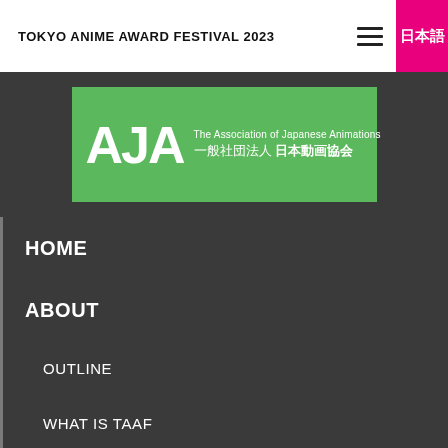TOKYO ANIME AWARD FESTIVAL 2023
[Figure (logo): AJA - The Association of Japanese Animations / 一般社団法人 日本動画協会 logo on green background]
HOME
ABOUT
OUTLINE
WHAT IS TAAF
CONTACT
ANIME OF THE YEAR
ANIME OF THE YEAR
PREVIOUS WINNERS
COMPETITION